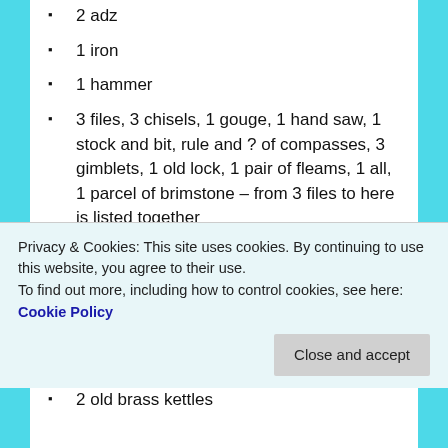2 adz
1 iron
1 hammer
3 files, 3 chisels, 1 gouge, 1 hand saw, 1 stock and bit, rule and ? of compasses, 3 gimblets, 1 old lock, 1 pair of fleams, 1 all, 1 parcel of brimstone – from 3 files to here is listed together
4 axes
Hatchet
4 iron wedges
1 iron sadle
Privacy & Cookies: This site uses cookies. By continuing to use this website, you agree to their use.
To find out more, including how to control cookies, see here: Cookie Policy
2 old brass kettles